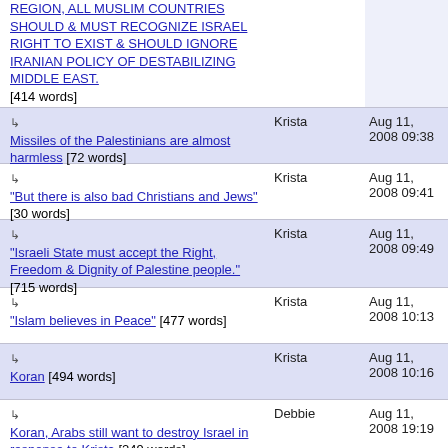REGION, ALL MUSLIM COUNTRIES SHOULD & MUST RECOGNIZE ISRAEL RIGHT TO EXIST & SHOULD IGNORE IRANIAN POLICY OF DESTABILIZING MIDDLE EAST. [414 words] — Krista — Aug 11, 2008
↳ Missiles of the Palestinians are almost harmless [72 words] — Krista — Aug 11, 2008 09:38
↳ "But there is also bad Christians and Jews" [30 words] — Krista — Aug 11, 2008 09:41
↳ "Israeli State must accept the Right, Freedom & Dignity of Palestine people." [715 words] — Krista — Aug 11, 2008 09:49
↳ "Islam believes in Peace" [477 words] — Krista — Aug 11, 2008 10:13
↳ Koran [494 words] — Krista — Aug 11, 2008 10:16
↳ Koran, Arabs still want to destroy Israel in response to Krista [249 words] — Debbie — Aug 11, 2008 19:19